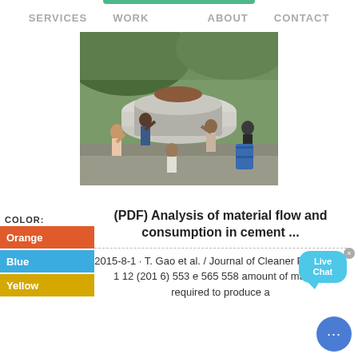SERVICES   WORK   ABOUT   CONTACT
[Figure (photo): Workers manually moving a large heavy industrial cement mill component on a dock or barge, outdoors with rocky hillside in background]
COLOR:
Orange
Blue
Yellow
(PDF) Analysis of material flow and consumption in cement ...
2015-8-1 · T. Gao et al. / Journal of Cleaner Production 1 12 (201 6) 553 e 565 558 amount of material required to produce a